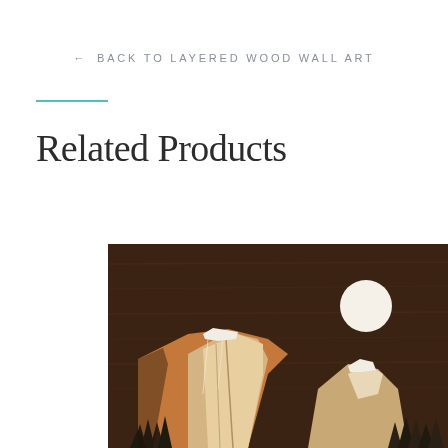← BACK TO LAYERED WOOD WALL ART
Related Products
[Figure (photo): Layered wood wall art depicting a mountain scene (El Capitan style) with a white circular moon against a dark walnut background, with lighter wood tones forming mountain faces and evergreen trees at the base]